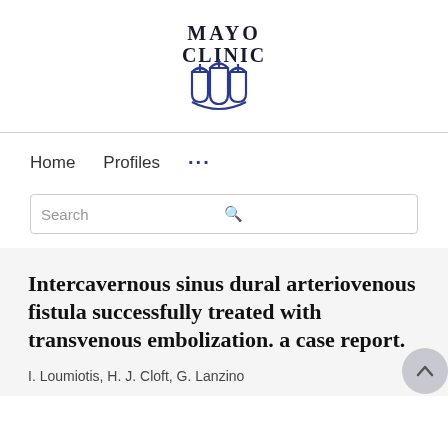[Figure (logo): Mayo Clinic logo with text MAYO CLINIC and three shield/arch symbols in navy blue]
Home   Profiles   ...
Search
Intercavernous sinus dural arteriovenous fistula successfully treated with transvenous embolization. a case report.
I. Loumiotis, H. J. Cloft, G. Lanzino